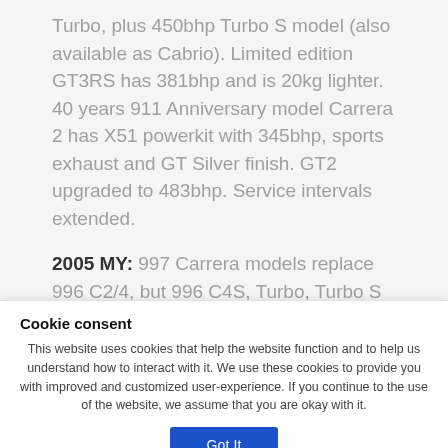Turbo, plus 450bhp Turbo S model (also available as Cabrio). Limited edition GT3RS has 381bhp and is 20kg lighter. 40 years 911 Anniversary model Carrera 2 has X51 powerkit with 345bhp, sports exhaust and GT Silver finish. GT2 upgraded to 483bhp. Service intervals extended.
2005 MY: 997 Carrera models replace 996 C2/4, but 996 C4S, Turbo, Turbo S and GT3
Cookie consent
This website uses cookies that help the website function and to help us understand how to interact with it. We use these cookies to provide you with improved and customized user-experience. If you continue to the use of the website, we assume that you are okay with it.